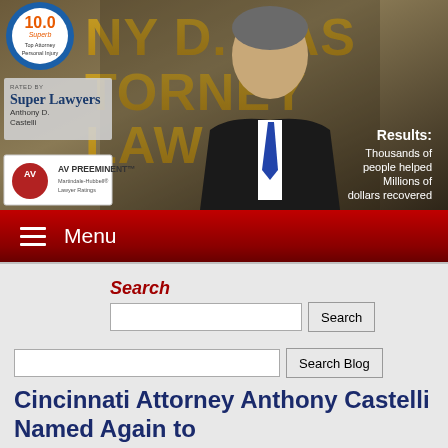[Figure (photo): Hero banner showing attorney Anthony D. Castelli in a suit with gold letters behind him, Avvo 10.0 Superb badge, Super Lawyers badge, AV Preeminent badge, and text reading 'Results: Thousands of people helped Millions of dollars recovered']
Menu
Search
Search Blog
Cincinnati Attorney Anthony Castelli Named Again to